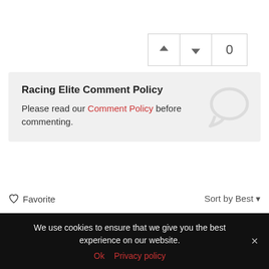[Figure (other): Vote up/down buttons with count of 0]
Racing Elite Comment Policy
Please read our Comment Policy before commenting.
Comments  Community  Privacy Policy  1  Login
♡ Favorite    Sort by Best ▼
Start the discussion…
We use cookies to ensure that we give you the best experience on our website.
Ok  Privacy policy